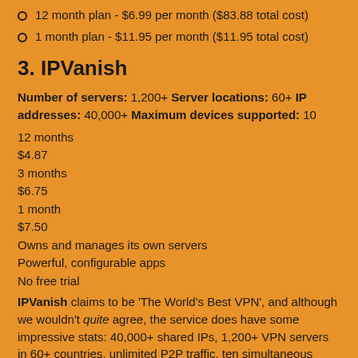12 month plan - $6.99 per month ($83.88 total cost)
1 month plan - $11.95 per month ($11.95 total cost)
3. IPVanish
Number of servers: 1,200+ Server locations: 60+ IP addresses: 40,000+ Maximum devices supported: 10
12 months
$4.87
3 months
$6.75
1 month
$7.50
Owns and manages its own servers
Powerful, configurable apps
No free trial
IPVanish claims to be 'The World's Best VPN', and although we wouldn't quite agree, the service does have some impressive stats: 40,000+ shared IPs, 1,200+ VPN servers in 60+ countries, unlimited P2P traffic, ten simultaneous